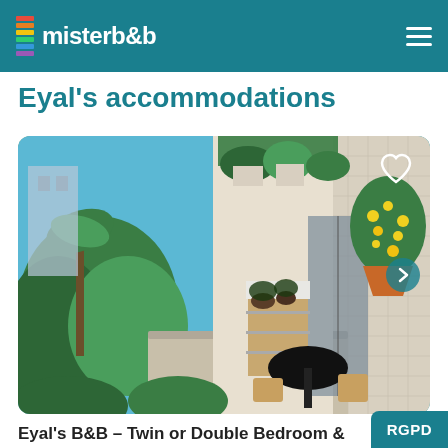misterb&b
Eyal's accommodations
[Figure (photo): Balcony of Eyal's B&B with lush green plants, hanging flower pots with yellow flowers, a small round black table and chairs, and an apartment building in the background with a blue sky.]
Eyal's B&B – Twin or Double Bedroom &
⚡ Private room • Nahalat Yizhaq